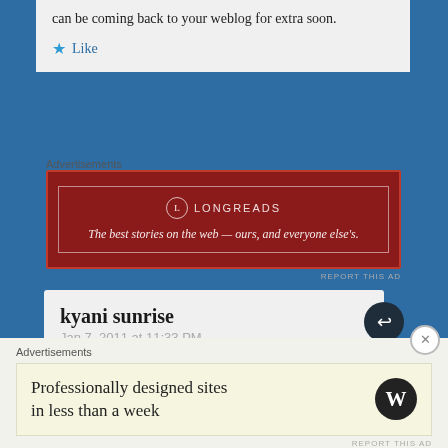can be coming back to your weblog for extra soon.
Like
Advertisements
[Figure (other): Longreads advertisement banner with red background. Logo: circle with L, text LONGREADS. Tagline: The best stories on the web — ours, and everyone else's.]
REPORT THIS AD
kyani sunrise
Jan 7, 2011 at 11:33 PM
It's best to participate in a contest for among the best blogs on the web. I'll suggest this web site!
Like
Advertisements
[Figure (other): WordPress advertisement: 'Professionally designed sites in less than a week' with WordPress logo (W in dark circle)]
REPORT THIS AD